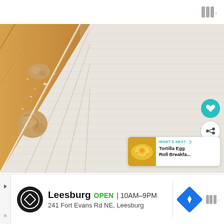[Figure (photo): A food photo showing dough balls resting on a wooden cutting board with flour dusted on it, partially covered by a white cloth or parchment paper. Overlay UI elements include a heart/favorite button (teal circle) and a share button (white circle). A 'WHAT'S NEXT' card in the bottom right shows a thumbnail of a breakfast dish labeled 'Tortilla Egg Roll Breakfa...']
WHAT'S NEXT → Tortilla Egg Roll Breakfa...
Leesburg OPEN 10AM–9PM 241 Fort Evans Rd NE, Leesburg